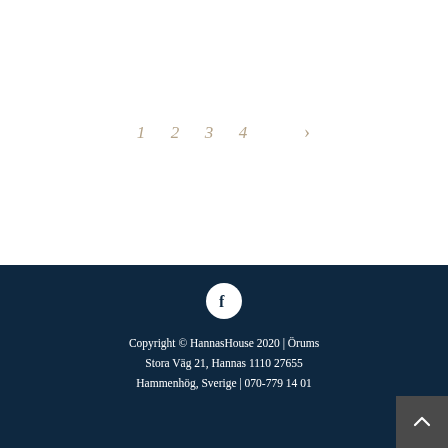1  2  3  4  >
Copyright © HannasHouse 2020 | Örums Stora Väg 21, Hannas 1110 27655 Hammenhög, Sverige | 070-779 14 01